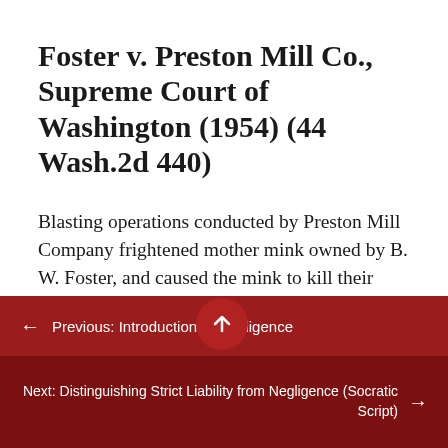Foster v. Preston Mill Co., Supreme Court of Washington (1954) (44 Wash.2d 440)
Blasting operations conducted by Preston Mill Company frightened mother mink owned by B. W. Foster, and caused the mink to kill their kittens. Foster brought this action against the company to recover damages. His second
← Previous: Introduction to Negligence
Next: Distinguishing Strict Liability from Negligence (Socratic Script) →